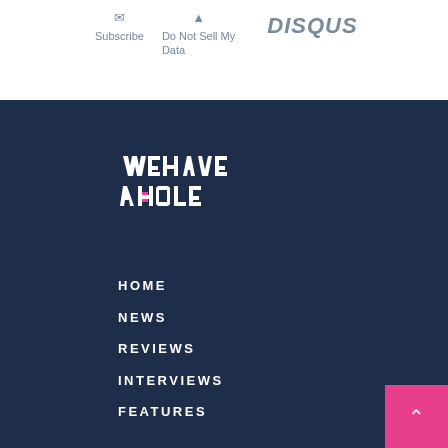Subscribe
Do Not Sell My Data
[Figure (logo): DISQUS logo in gray uppercase bold italic letters]
[Figure (logo): We Have A Hold logo in white stylized text with pink accent]
HOME
NEWS
REVIEWS
INTERVIEWS
FEATURES